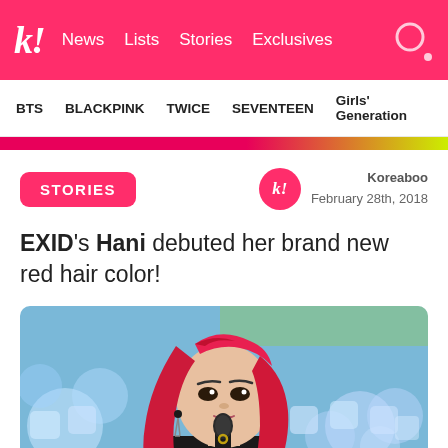k! News Lists Stories Exclusives
BTS BLACKPINK TWICE SEVENTEEN Girls' Generation
STORIES
Koreaboo
February 28th, 2018
EXID's Hani debuted her brand new red hair color!
[Figure (photo): Photo of EXID's Hani performing on stage with bright red and yellow gradient long hair, holding a microphone, wearing black outfit with dangly earrings, colorful blurred stage lights in background]